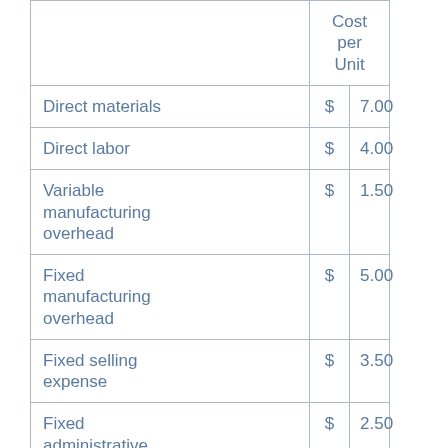|  | Cost per Unit |
| --- | --- |
| Direct materials | $ | 7.00 |
| Direct labor | $ | 4.00 |
| Variable manufacturing overhead | $ | 1.50 |
| Fixed manufacturing overhead | $ | 5.00 |
| Fixed selling expense | $ | 3.50 |
| Fixed administrative expense | $ | 2.50 |
| Sales commissions | $ | 1.00 |